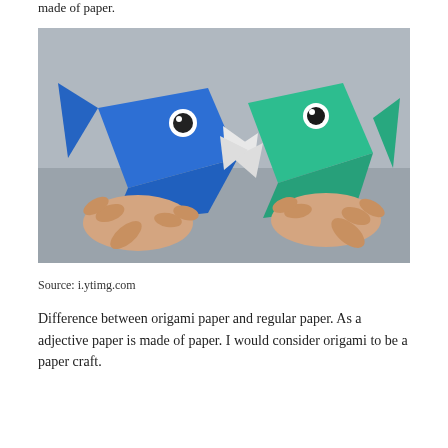made of paper.
[Figure (photo): Two hands holding origami fish facing each other — one blue fish on the left and one green/teal fish on the right, both with googly eyes and white paper teeth, against a gray background.]
Source: i.ytimg.com
Difference between origami paper and regular paper. As a adjective paper is made of paper. I would consider origami to be a paper craft.